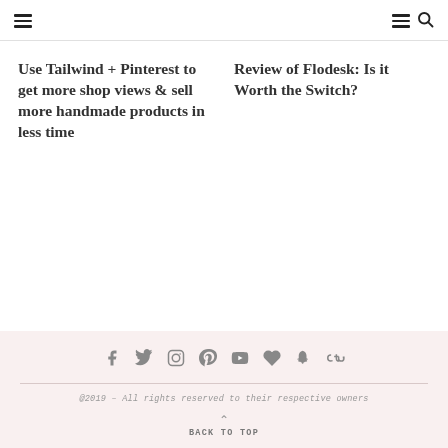Navigation header with hamburger menu (left), hamburger menu and search icon (right)
Use Tailwind + Pinterest to get more shop views & sell more handmade products in less time
Review of Flodesk: Is it Worth the Switch?
Social icons: Facebook, Twitter, Instagram, Pinterest, YouTube, Heart, Snapchat, StumbleUpon. @2019 - All rights reserved to their respective owners. BACK TO TOP